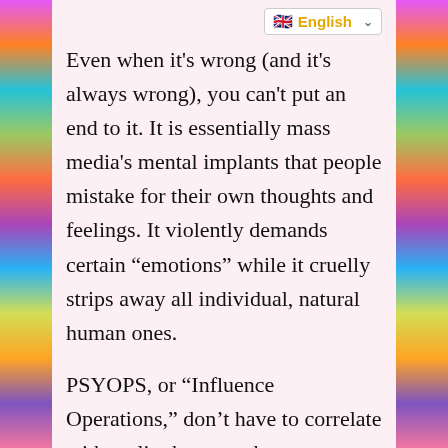[Figure (other): Colorful psychedelic decorative border on left and right sides of the page]
English (language selector dropdown)
Even when it's wrong (and it's always wrong), you can't put an end to it. It is essentially mass media's mental implants that people mistake for their own thoughts and feelings. It violently demands certain “emotions” while it cruelly strips away all individual, natural human ones.
PSYOPS, or “Influence Operations,” don’t have to correlate with reality because they create a new hyper-reality, seen only through specific virtual reality goggles. Inside the virtualized media dome, all of its promises come true, funnily enough—like clockwork, whereas a natural story will contain surprise twists.